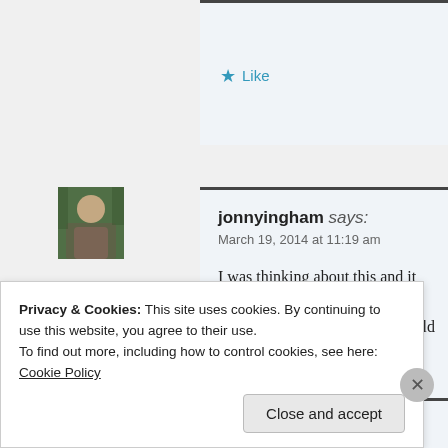★ Like
[Figure (photo): Avatar/profile photo of jonnyingham - person outdoors with trees in background]
jonnyingham says: March 19, 2014 at 11:19 am
I was thinking about this and it mi… label on the cline. The cline could… to 'certain' at the top. What do you…
★ Like
Privacy & Cookies: This site uses cookies. By continuing to use this website, you agree to their use. To find out more, including how to control cookies, see here: Cookie Policy
Close and accept